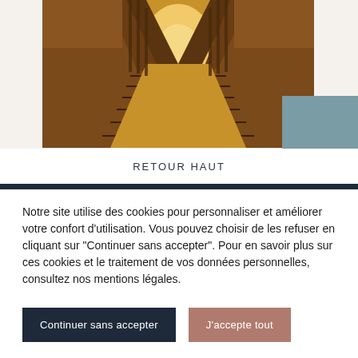[Figure (photo): Interior wooden staircase viewed from above, with dark wood banisters and railings, leading down to a yellow-lit landing. Warm brown tones.]
RETOUR HAUT
Notre site utilise des cookies pour personnaliser et améliorer votre confort d'utilisation. Vous pouvez choisir de les refuser en cliquant sur "Continuer sans accepter". Pour en savoir plus sur ces cookies et le traitement de vos données personnelles, consultez nos mentions légales.
Continuer sans accepter
J'accepte tout